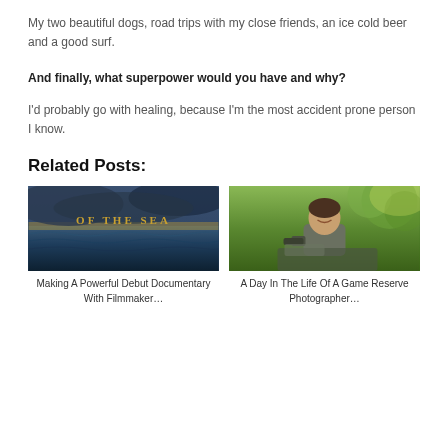My two beautiful dogs, road trips with my close friends, an ice cold beer and a good surf.
And finally, what superpower would you have and why?
I'd probably go with healing, because I'm the most accident prone person I know.
Related Posts:
[Figure (photo): Movie poster or title card showing ocean waves with text 'OF THE SEA' in golden letters on dark stormy water]
Making A Powerful Debut Documentary With Filmmaker…
[Figure (photo): A man smiling, sitting in a vehicle outdoors in a green nature/game reserve setting, holding camera equipment]
A Day In The Life Of A Game Reserve Photographer…